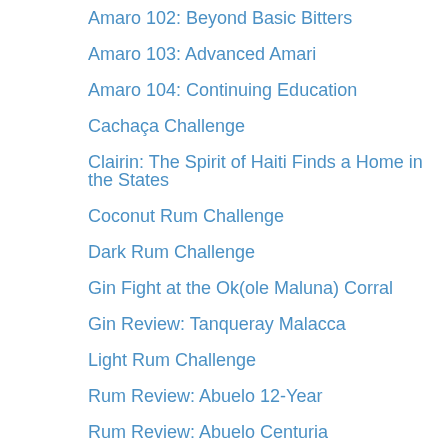Amaro 102: Beyond Basic Bitters
Amaro 103: Advanced Amari
Amaro 104: Continuing Education
Cachaça Challenge
Clairin: The Spirit of Haiti Finds a Home in the States
Coconut Rum Challenge
Dark Rum Challenge
Gin Fight at the Ok(ole Maluna) Corral
Gin Review: Tanqueray Malacca
Light Rum Challenge
Rum Review: Abuelo 12-Year
Rum Review: Abuelo Centuria
Rum Review: Angostura 1824
Rum Review: Angostura 1919
Rum Review: Appleton 12-Year
Rum Review: Appleton 21
Rum Review: Appleton 50
Rum Review: Appleton Estate Joy Anniversary Blend
Rum Review: Atlantico Private Cask
Rum Review: Bacardi 8